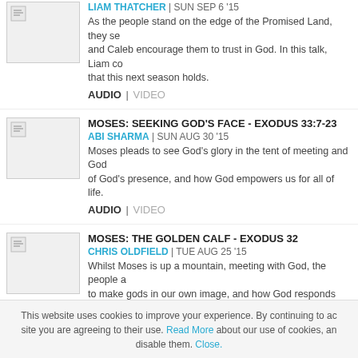LIAM THATCHER | SUN SEP 6 '15 — As the people stand on the edge of the Promised Land, they se... and Caleb encourage them to trust in God. In this talk, Liam co... that this next season holds. AUDIO | VIDEO
MOSES: SEEKING GOD'S FACE - EXODUS 33:7-23 — ABI SHARMA | SUN AUG 30 '15 — Moses pleads to see God's glory in the tent of meeting and God... of God's presence, and how God empowers us for all of life. AUDIO | VIDEO
MOSES: THE GOLDEN CALF - EXODUS 32 — CHRIS OLDFIELD | TUE AUG 25 '15 — Whilst Moses is up a mountain, meeting with God, the people a... to make gods in our own image, and how God responds with gr... AUDIO | VIDEO
MOSES: THE 10 COMMANDMENTS - EXODUS 20 — TIM FRISBY | SUN AUG 16 '15 — How can we live a life that pleases God? And what lasting relev... the law and considers what it can teach us about the gospel, Go... AUDIO | VIDEO
This website uses cookies to improve your experience. By continuing to ac... site you are agreeing to their use. Read More about our use of cookies, an... disable them. Close.